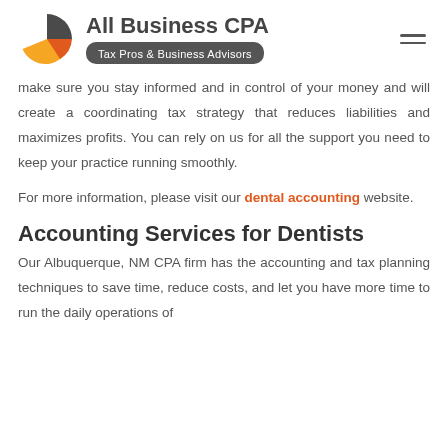[Figure (logo): All Business CPA logo with pie chart graphic, title 'All Business CPA' and subtitle 'Tax Pros & Business Advisors']
make sure you stay informed and in control of your money and will create a coordinating tax strategy that reduces liabilities and maximizes profits. You can rely on us for all the support you need to keep your practice running smoothly.
For more information, please visit our dental accounting website.
Accounting Services for Dentists
Our Albuquerque, NM CPA firm has the accounting and tax planning techniques to save time, reduce costs, and let you have more time to run the daily operations of